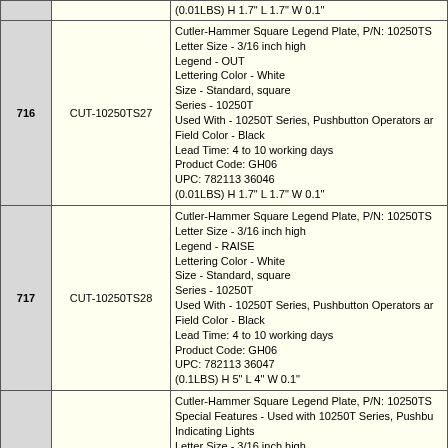| # | Part Number | Description |
| --- | --- | --- |
|  |  | (0.01LBS) H 1.7" L 1.7" W 0.1" |
| 716 | CUT-10250TS27 | Cutler-Hammer Square Legend Plate, P/N: 10250TS...
Letter Size - 3/16 inch high
Legend - OUT
Lettering Color - White
Size - Standard, square
Series - 10250T
Used With - 10250T Series, Pushbutton Operators an...
Field Color - Black
Lead Time: 4 to 10 working days
Product Code: GH06
UPC: 782113 36046
(0.01LBS) H 1.7" L 1.7" W 0.1" |
| 717 | CUT-10250TS28 | Cutler-Hammer Square Legend Plate, P/N: 10250TS...
Letter Size - 3/16 inch high
Legend - RAISE
Lettering Color - White
Size - Standard, square
Series - 10250T
Used With - 10250T Series, Pushbutton Operators an...
Field Color - Black
Lead Time: 4 to 10 working days
Product Code: GH06
UPC: 782113 36047
(0.1LBS) H 5" L 4" W 0.1" |
| 718 | CUT-10250TS29 | Cutler-Hammer Square Legend Plate, P/N: 10250TS...
Special Features - Used with 10250T Series, Pushbu...
Indicating Lights
Letter Size - 3/16 inch high
Legend - RESET
Lettering Color - White
Type - Standard
Size - Square
Series - 10250T
Used With - 10250T Series, Pushbutton Operators an...
Field Color - Black
Lead Time: Stock |